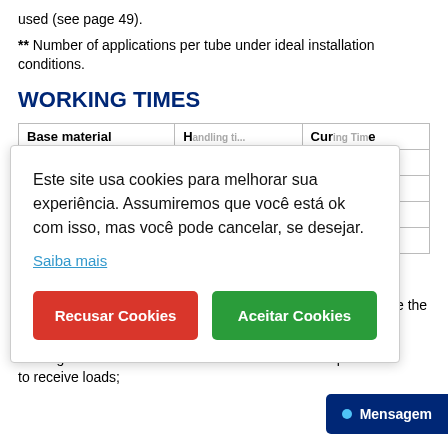used (see page 49).
** Number of applications per tube under ideal installation conditions.
WORKING TIMES
| Base material | Handling time | Curing Time |
| --- | --- | --- |
Este site usa cookies para melhorar sua experiência. Assumiremos que você está ok com isso, mas você pode cancelar, se desejar. Saiba mais
"Handling time" is the time in which it is possible to manipulate the product after mixing;
"Curing time" is the time when the resin "dries" comp...
to receive loads;